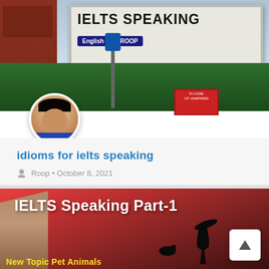[Figure (photo): Banner/billboard showing 'IELTS SPEAKING' with 'English With ROOP' text, set against a hedge and brick building background, with a circular avatar photo of Roop overlaid at bottom left]
idioms for ielts speaking
Roop • October 8, 2021
[Figure (photo): IELTS Speaking Part-1 banner image with pink/red sunset background, showing a woman silhouette, a cat silhouette, and a person on the left. Bottom text reads 'New Topic Pet Animals'. Has a back-to-top arrow button in bottom right.]